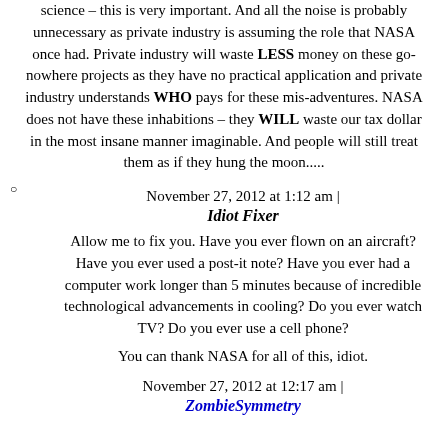science – this is very important. And all the noise is probably unnecessary as private industry is assuming the role that NASA once had. Private industry will waste LESS money on these go-nowhere projects as they have no practical application and private industry understands WHO pays for these mis-adventures. NASA does not have these inhabitions – they WILL waste our tax dollar in the most insane manner imaginable. And people will still treat them as if they hung the moon.....
November 27, 2012 at 1:12 am |
Idiot Fixer
Allow me to fix you. Have you ever flown on an aircraft? Have you ever used a post-it note? Have you ever had a computer work longer than 5 minutes because of incredible technological advancements in cooling? Do you ever watch TV? Do you ever use a cell phone?
You can thank NASA for all of this, idiot.
November 27, 2012 at 12:17 am |
ZombieSymmetry